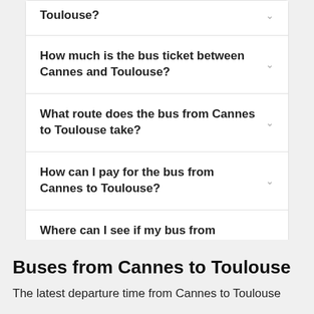Toulouse?
How much is the bus ticket between Cannes and Toulouse?
What route does the bus from Cannes to Toulouse take?
How can I pay for the bus from Cannes to Toulouse?
Where can I see if my bus from Cannes to Toulouse is on time?
Buses from Cannes to Toulouse
The latest departure time from Cannes to Toulouse